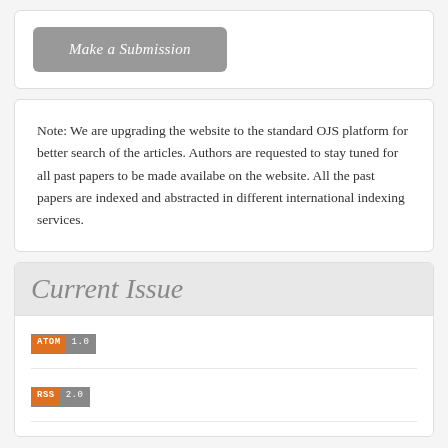Make a Submission
Note: We are upgrading the website to the standard OJS platform for better search of the articles. Authors are requested to stay tuned for all past papers to be made availabe on the website. All the past papers are indexed and abstracted in different international indexing services.
Current Issue
[Figure (other): ATOM 1.0 feed badge with orange ATOM label and grey 1.0 version label]
[Figure (other): RSS 2.0 feed badge with orange RSS label and grey 2.0 version label]